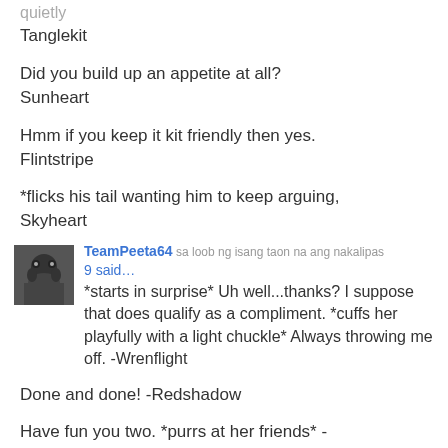quietly
Tanglekit
Did you build up an appetite at all?
Sunheart
Hmm if you keep it kit friendly then yes.
Flintstripe
*flicks his tail wanting him to keep arguing,
Skyheart
TeamPeeta64  sa loob ng isang taon na ang nakalipas
9 said…
*starts in surprise* Uh well...thanks? I suppose that does qualify as a compliment. *cuffs her playfully with a light chuckle* Always throwing me off. -Wrenflight
Done and done! -Redshadow
Have fun you two. *purrs at her friends* -Sweetbriar
last edited sa loob ng isang taon na ang nakalipas